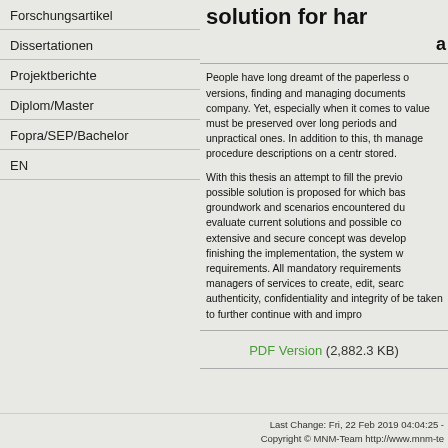solution for har
a
Forschungsartikel
Dissertationen
Projektberichte
Diplom/Master
Fopra/SEP/Bachelor
EN
People have long dreamt of the paperless o versions, finding and managing documents company. Yet, especially when it comes to value must be preserved over long periods and unpractical ones. In addition to this, the manage procedure descriptions on a centra stored.
With this thesis an attempt to fill the previo possible solution is proposed for which bas groundwork and scenarios encountered du evaluate current solutions and possible co extensive and secure concept was develop finishing the implementation, the system w requirements. All mandatory requirements managers of services to create, edit, searc authenticity, confidentiality and integrity of be taken to further continue with and impro
PDF Version (2,882.3 KB)
Last Change: Fri, 22 Feb 2019 04:04:25 -
Copyright © MNM-Team http://www.mnm-te